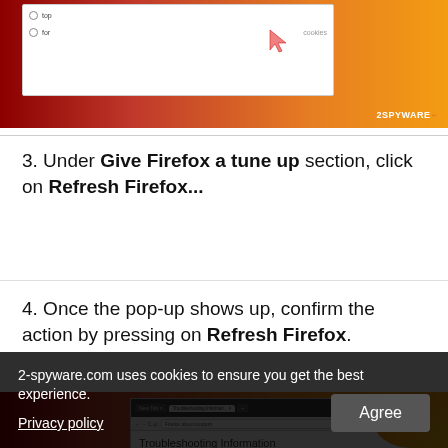[Figure (screenshot): Screenshot of a browser window showing Firefox settings, with a cursor pointing at a menu. Red/orange gradient background with 2spyware.com watermark.]
3. Under Give Firefox a tune up section, click on Refresh Firefox...
4. Once the pop-up shows up, confirm the action by pressing on Refresh Firefox.
[Figure (screenshot): Screenshot of Firefox Troubleshooting Information page with 'Give Firefox a tune up' panel showing Refresh Firefox and Try Safe Mode buttons.]
2-spyware.com uses cookies to ensure you get the best experience.
Privacy policy
Agree